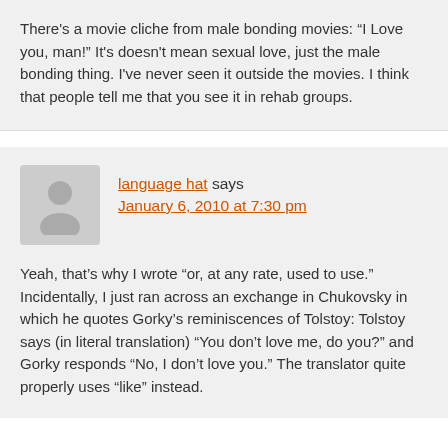There's a movie cliche from male bonding movies: “I Love you, man!” It's doesn't mean sexual love, just the male bonding thing. I've never seen it outside the movies. I think that people tell me that you see it in rehab groups.
language hat says
January 6, 2010 at 7:30 pm
Yeah, that’s why I wrote “or, at any rate, used to use.” Incidentally, I just ran across an exchange in Chukovsky in which he quotes Gorky’s reminiscences of Tolstoy: Tolstoy says (in literal translation) “You don’t love me, do you?” and Gorky responds “No, I don’t love you.” The translator quite properly uses “like” instead.